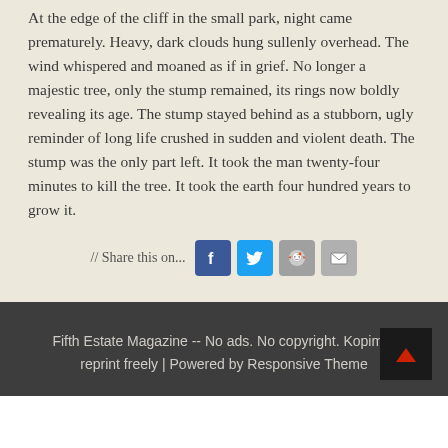At the edge of the cliff in the small park, night came prematurely. Heavy, dark clouds hung sullenly overhead. The wind whispered and moaned as if in grief. No longer a majestic tree, only the stump remained, its rings now boldly revealing its age. The stump stayed behind as a stubborn, ugly reminder of long life crushed in sudden and violent death. The stump was the only part left. It took the man twenty-four minutes to kill the tree. It took the earth four hundred years to grow it.
[Figure (infographic): Share this on... icons: Facebook (blue), Twitter (blue), Reddit (gray/orange), Email (gray)]
Fifth Estate Magazine -- No ads. No copyright. Kopimi-- reprint freely | Powered by Responsive Theme